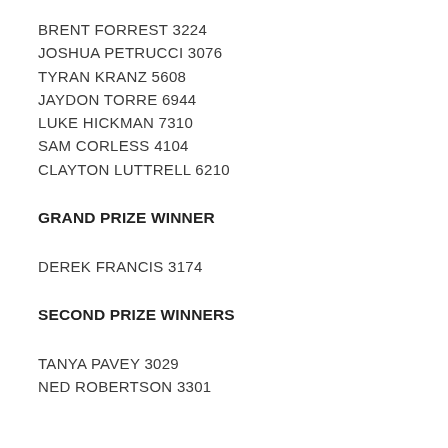BRENT FORREST 3224
JOSHUA PETRUCCI 3076
TYRAN KRANZ 5608
JAYDON TORRE 6944
LUKE HICKMAN 7310
SAM CORLESS 4104
CLAYTON LUTTRELL 6210
GRAND PRIZE WINNER
DEREK FRANCIS 3174
SECOND PRIZE WINNERS
TANYA PAVEY 3029
NED ROBERTSON 3301